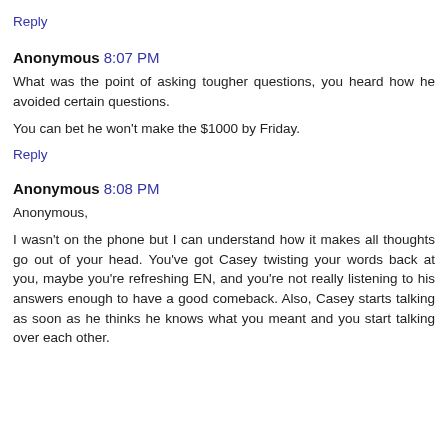Reply
Anonymous 8:07 PM
What was the point of asking tougher questions, you heard how he avoided certain questions.
You can bet he won't make the $1000 by Friday.
Reply
Anonymous 8:08 PM
Anonymous,
I wasn't on the phone but I can understand how it makes all thoughts go out of your head. You've got Casey twisting your words back at you, maybe you're refreshing EN, and you're not really listening to his answers enough to have a good comeback. Also, Casey starts talking as soon as he thinks he knows what you meant and you start talking over each other.